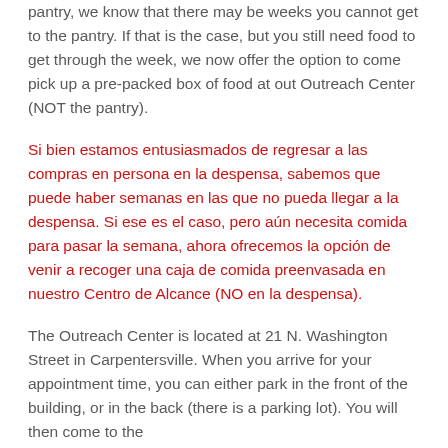pantry, we know that there may be weeks you cannot get to the pantry. If that is the case, but you still need food to get through the week, we now offer the option to come pick up a pre-packed box of food at out Outreach Center (NOT the pantry).
Si bien estamos entusiasmados de regresar a las compras en persona en la despensa, sabemos que puede haber semanas en las que no pueda llegar a la despensa. Si ese es el caso, pero aún necesita comida para pasar la semana, ahora ofrecemos la opción de venir a recoger una caja de comida preenvasada en nuestro Centro de Alcance (NO en la despensa).
The Outreach Center is located at 21 N. Washington Street in Carpentersville. When you arrive for your appointment time, you can either park in the front of the building, or in the back (there is a parking lot). You will then come to the